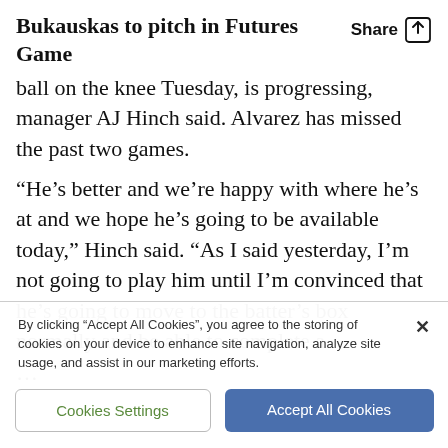Bukauskas to pitch in Futures Game
ball on the knee Tuesday, is progressing, manager AJ Hinch said. Alvarez has missed the past two games.
“He’s better and we’re happy with where he’s at and we hope he’s going to be available today,” Hinch said. “As I said yesterday, I’m not going to play him until I’m convinced that he’s going to move to the batter’s box normally and be able to complete a
By clicking “Accept All Cookies”, you agree to the storing of cookies on your device to enhance site navigation, analyze site usage, and assist in our marketing efforts.